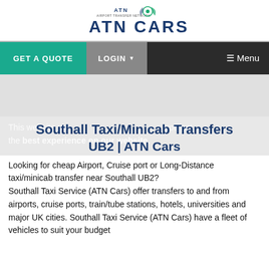[Figure (logo): ATN Cars logo — Airport Transfer Network with car/wheel graphic above bold blue ATN CARS text]
GET A QUOTE  LOGIN ▾  ☰ Menu
[Figure (other): Gray banner/hero area]
Southall Taxi/Minicab Transfers UB2 | ATN Cars
This website us... you get the best experience on our website.
Looking for cheap Airport, Cruise port or Long-Distance taxi/minicab transfer near Southall UB2? Southall Taxi Service (ATN Cars) offer transfers to and from airports, cruise ports, train/tube stations, hotels, universities and major UK cities. Southall Taxi Service (ATN Cars) have a fleet of vehicles to suit your budget